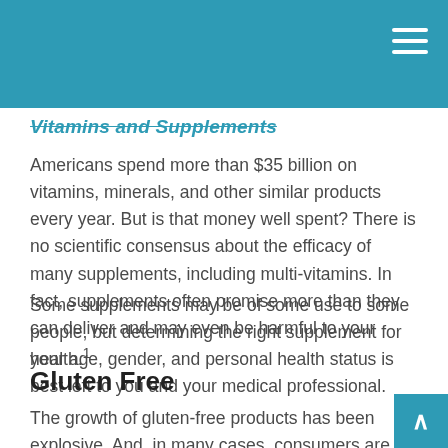Vitamins and Supplements
Americans spend more than $35 billion on vitamins, minerals, and other similar products every year. But is that money well spent? There is no scientific consensus about the efficacy of many supplements, including multi-vitamins. In fact, supplements often promise more than they can deliver and may even be harmful to your health.¹
Some supplements may be of some use to some people, but determining the right supplement for your age, gender, and personal health status is best left to you and your medical professional.
Gluten Free
The growth of gluten-free products has been explosive. And, in many cases, consumers are paying a higher